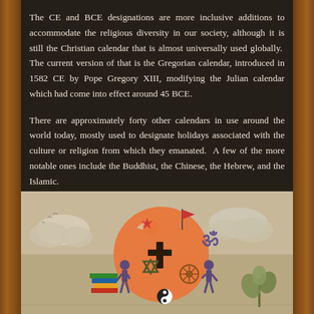The CE and BCE designations are more inclusive additions to accommodate the religious diversity in our society, although it is still the Christian calendar that is almost universally used globally. The current version of that is the Gregorian calendar, introduced in 1582 CE by Pope Gregory XIII, modifying the Julian calendar which had come into effect around 45 BCE.
There are approximately forty other calendars in use around the world today, mostly used to designate holidays associated with the culture or religion from which they emanated. A few of the more notable ones include the Buddhist, the Chinese, the Hebrew, and the Islamic.
[Figure (illustration): An illustration showing various religious symbols (crescent and star, Om symbol, cross, Star of David, Dharma wheel, yin-yang) overlaid on a large orange circle/sun, with cartoon figures of people, books, clouds, and a plant on a beige background.]